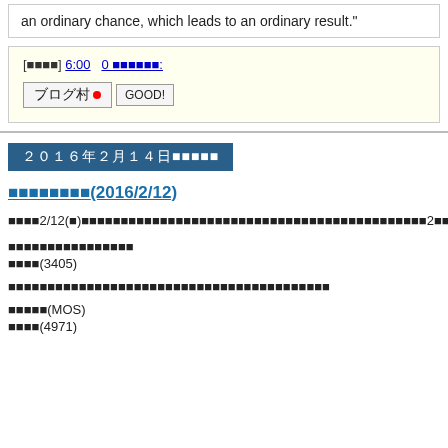an ordinary chance, which leads to an ordinary result."
[■■■■] 6:00   0 ■■■■■■:
[Figure (other): Blog village button (ブログ村) with red dot and GOOD! button]
２０１６年２月１４日■■■■■
■■■■■■■■(2016/2/12)
■■■■2/12(■)■■■■■■■■■■■■■■■■■■■■■■■■■■■■■■■■■■■■■■■■■■2■■■■
■■■■■■■■■■■■■■■■
■■■■(3405)
■■■■■■■■■■■■■■■■■■■■■■■■■■■■■■■■■■■■■■■
■■■■■(MOS)
■■■■(4971)